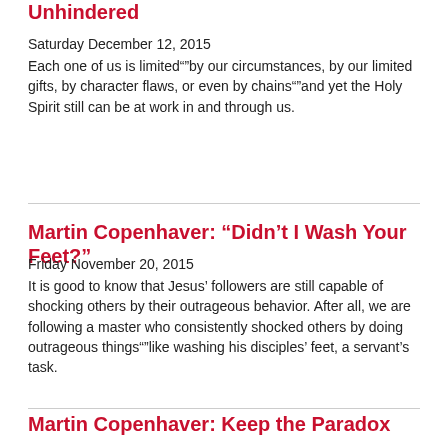Unhindered
Saturday December 12, 2015
Each one of us is limited””by our circumstances, by our limited gifts, by character flaws, or even by chains””and yet the Holy Spirit still can be at work in and through us.
Martin Copenhaver: “Didn’t I Wash Your Feet?”
Friday November 20, 2015
It is good to know that Jesus’ followers are still capable of shocking others by their outrageous behavior. After all, we are following a master who consistently shocked others by doing outrageous things””like washing his disciples’ feet, a servant’s task.
Martin Copenhaver: Keep the Paradox